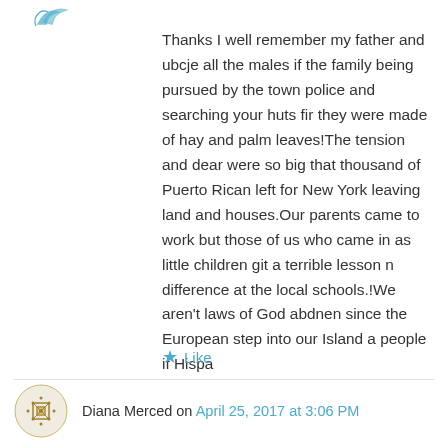[Figure (illustration): Teal/cyan decorative leaf/bird avatar icon in top left]
Thanks I well remember my father and ubcje all the males if the family being pursued by the town police and searching your huts fir they were made of hay and palm leaves!The tension and dear were so big that thousand of Puerto Rican left for New York leaving land and houses.Our parents came to work but those of us who came in as little children git a terrible lesson n difference at the local schools.!We aren’t laws of God abdnen since the European step into our Island a people if Hispa
★ Like
[Figure (illustration): Brown/gold decorative geometric pattern avatar icon for Diana Merced]
Diana Merced on April 25, 2017 at 3:06 PM